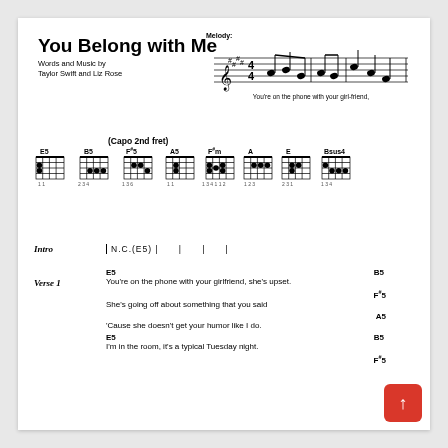You Belong with Me
Words and Music by
Taylor Swift and Liz Rose
[Figure (music-notation): Melody: musical staff with treble clef, key signature with sharps, time signature 4/4, showing opening melody notes]
You're on the phone with your girl-friend,
(Capo 2nd fret)
[Figure (other): Guitar chord diagrams for E5, B5, F#5, A5, F#m, A, E, Bsus4 with fingering positions]
Intro   | N.C.(E5) |     |     |
Verse 1
E5                                        B5
You're on the phone with your girlfriend, she's upset.
F#5
She's going off about something that you said
A5
'Cause she doesn't get your humor like I do.
E5                                        B5
I'm in the room, it's a typical Tuesday night.
F#5